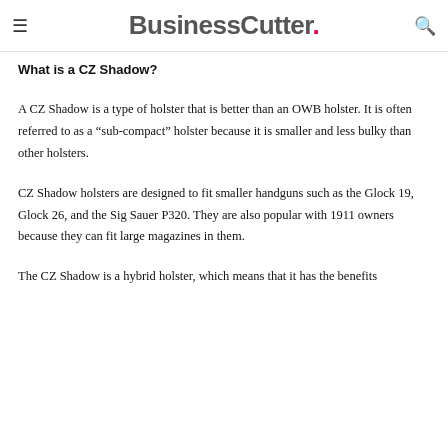BusinessCutter.
What is a CZ Shadow?
A CZ Shadow is a type of holster that is better than an OWB holster. It is often referred to as a “sub-compact” holster because it is smaller and less bulky than other holsters.
CZ Shadow holsters are designed to fit smaller handguns such as the Glock 19, Glock 26, and the Sig Sauer P320. They are also popular with 1911 owners because they can fit large magazines in them.
The CZ Shadow is a hybrid holster, which means that it has the benefits